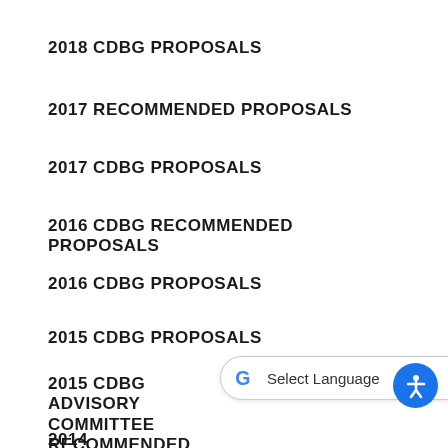2018 CDBG PROPOSALS
2017 RECOMMENDED PROPOSALS
2017 CDBG PROPOSALS
2016 CDBG RECOMMENDED PROPOSALS
2016 CDBG PROPOSALS
2015 CDBG PROPOSALS
2015 CDBG ADVISORY COMMITTEE RECOMMENDED PROPOSALS
2014 RECOMMENDED